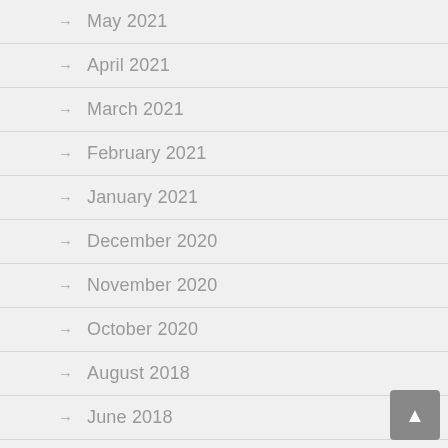May 2021
April 2021
March 2021
February 2021
January 2021
December 2020
November 2020
October 2020
August 2018
June 2018